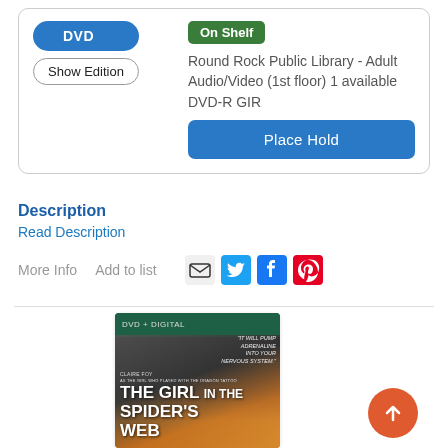DVD | On Shelf | Round Rock Public Library - Adult Audio/Video (1st floor) 1 available | DVD-R GIR | Place Hold
Description
Read Description
More Info   Add to list
[Figure (screenshot): The Girl in the Spider's Web DVD cover with DVD+Digital label at top]
[Figure (other): Orange scroll-to-top button with upward arrow]